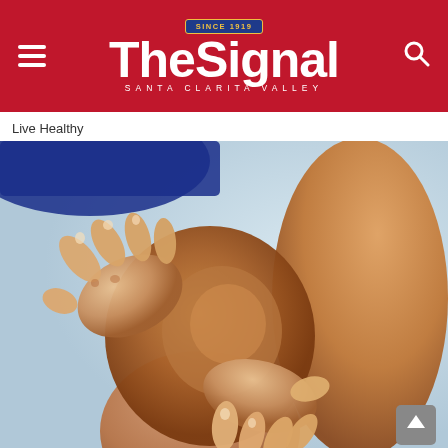The Signal — Santa Clarita Valley
Live Healthy
[Figure (photo): Close-up photo of a person in blue shorts holding/gripping their knee with both hands, suggesting knee pain or injury. Background is light blue/grey (blurred outdoor setting).]